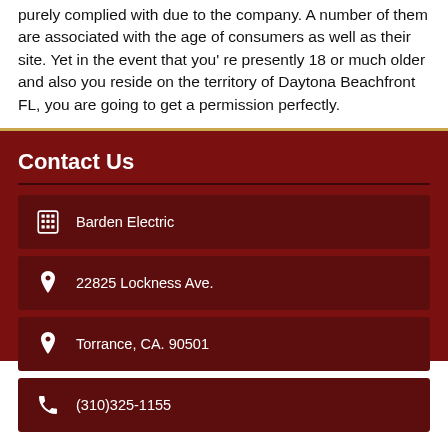purely complied with due to the company. A number of them are associated with the age of consumers as well as their site. Yet in the event that you're presently 18 or much older and also you reside on the territory of Daytona Beachfront FL, you are going to get a permission perfectly.
Contact Us
Barden Electric
22825 Lockness Ave.
Torrance, CA. 90501
(310)325-1155